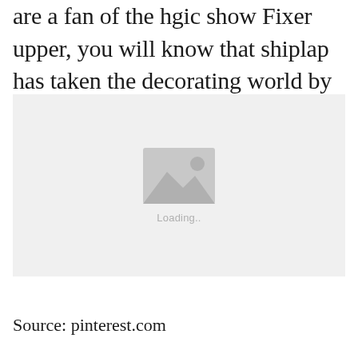are a fan of the hgic show Fixer upper, you will know that shiplap has taken the decorating world by storm.
[Figure (photo): Loading placeholder image with a grey background and an image icon with 'Loading...' text]
Source: pinterest.com